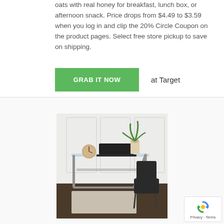oats with real honey for breakfast, lunch box, or afternoon snack. Price drops from $4.49 to $3.59 when you log in and clip the 20% Circle Coupon on the product pages. Select free store pickup to save on shipping.
GRAB IT NOW at Target
[Figure (photo): Photo of a glass-top computer desk with metal Z-shaped frame, a laptop, round clock, potted plant, and a black metal chair beside it.]